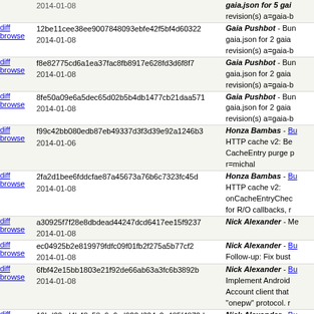|  | Hash / Date | Description |
| --- | --- | --- |
| diff browse | 12be11cee38ee9007848093ebfe42f5bf4d60322
2014-01-08 | Gaia Pushbot - Bun gaia.json for 2 gaia revision(s) a=gaia-b |
| diff browse | f8e82775cd6a1ea37fac8fb8917e628fd3d6f8f7
2014-01-08 | Gaia Pushbot - Bun gaia.json for 2 gaia revision(s) a=gaia-b |
| diff browse | 8fe50a09e6a5dec65d02b5b4db1477cb21daa571
2014-01-08 | Gaia Pushbot - Bun gaia.json for 2 gaia revision(s) a=gaia-b |
| diff browse | f99c42bb080edb87eb49337d3f3d39e92a1246b3
2014-01-06 | Honza Bambas - Bu HTTP cache v2: Be CacheEntry purge r=michal |
| diff browse | 2fa2d1bee6fddcfae87a45673a76b6c7323fc45d
2014-01-08 | Honza Bambas - Bu HTTP cache v2: onCacheEntryChec for R/O callbacks, r |
| diff browse | a30925f7f28e8dbdead44247dcd6417ee15f9237
2014-01-08 | Nick Alexander - Me |
| diff browse | ec04925b2e819979fdfc09f01fb2f275a5b77cf2
2014-01-08 | Nick Alexander - Bu Follow-up: Fix bust |
| diff browse | 6fbf42e15bb1803e21f92de66ab63a3fc6b3892b
2014-01-08 | Nick Alexander - Bu Implement Android Account client that onepw protocol. r |
| diff browse | 19bd00ed4b48c58e9a6cd920d304c0a485f4872d
2014-01-08 | Nick Alexander - Bu Implement (de)seria Android BrowserID |